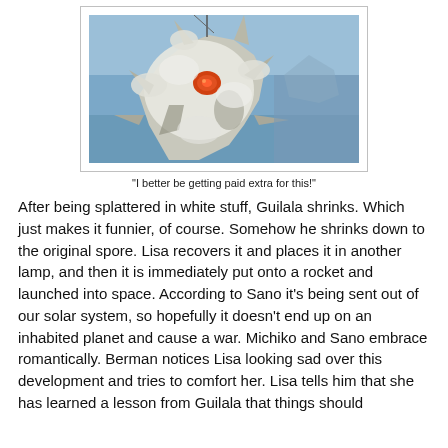[Figure (photo): A monster creature (Guilala) covered in white stuff, photographed against a blue sky background. The creature appears rocky/spiky with an orange eye visible.]
"I better be getting paid extra for this!"
After being splattered in white stuff, Guilala shrinks. Which just makes it funnier, of course. Somehow he shrinks down to the original spore. Lisa recovers it and places it in another lamp, and then it is immediately put onto a rocket and launched into space. According to Sano it's being sent out of our solar system, so hopefully it doesn't end up on an inhabited planet and cause a war. Michiko and Sano embrace romantically. Berman notices Lisa looking sad over this development and tries to comfort her. Lisa tells him that she has learned a lesson from Guilala that things should